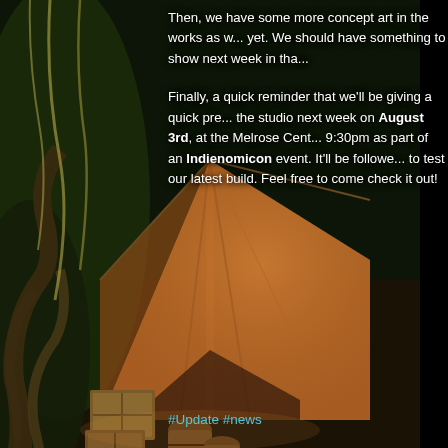[Figure (illustration): Fantasy game concept art showing a camp tent scene with wooden crates and barrels, painted in warm orange and brown tones against a dark green forest background. Appears twice (upper and lower portions of page) with social media icons overlaid on the lower image.]
Then, we have some more concept art in the works as w... yet. We should have something to show next week in tha...
Finally, a quick reminder that we'll be giving a quick pre... the studio next week on August 3rd, at the Melrose Cent... 9:30pm as part of an Indienomicon event. It'll be followe... to test our latest build. Feel free to come check it out!
#Update #news